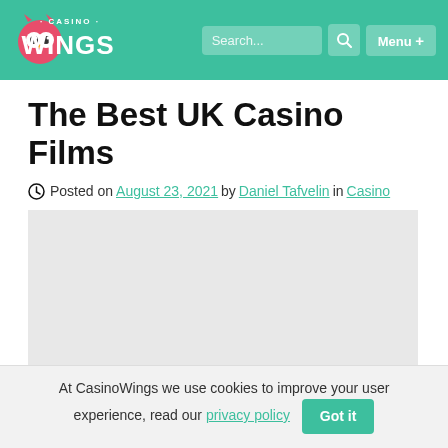Casino Wings — Search… Menu+
The Best UK Casino Films
Posted on August 23, 2021 by Daniel Tafvelin in Casino
[Figure (photo): Image placeholder area for article hero image]
There's an almost inextricable link between those who
At CasinoWings we use cookies to improve your user experience, read our privacy policy  Got it